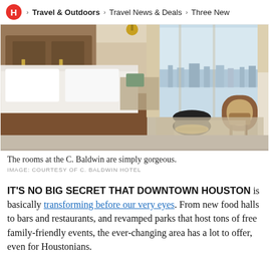H > Travel & Outdoors > Travel News & Deals > Three New
[Figure (photo): Luxurious hotel room at the C. Baldwin hotel showing a king bed with white linens, leather headboard, wicker chair, black ottoman with gold base, floor-to-ceiling windows with city skyline view, warm wood tones and curtains.]
The rooms at the C. Baldwin are simply gorgeous.
IMAGE: COURTESY OF C. BALDWIN HOTEL
IT'S NO BIG SECRET THAT DOWNTOWN HOUSTON is basically transforming before our very eyes. From new food halls to bars and restaurants, and revamped parks that host tons of free family-friendly events, the ever-changing area has a lot to offer, even for Houstonians.